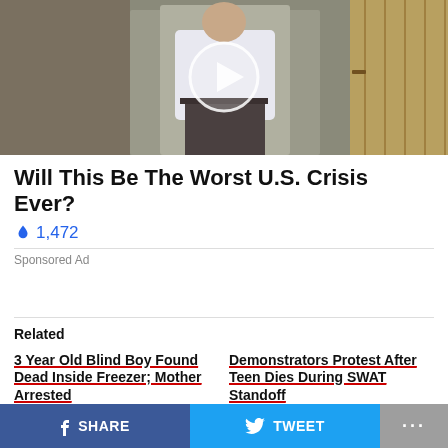[Figure (screenshot): Video thumbnail showing a man in a white shirt outdoors with a play button overlay]
Will This Be The Worst U.S. Crisis Ever?
🔥 1,472
Sponsored Ad
Related
3 Year Old Blind Boy Found Dead Inside Freezer; Mother Arrested
June 25, 2022
In "Crime"
Demonstrators Protest After Teen Dies During SWAT Standoff
July 10, 2022
In "Crime"
SHARE   TWEET   ...